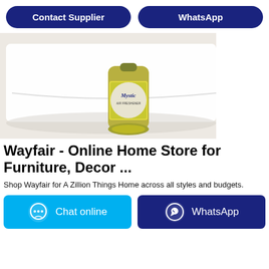[Figure (other): Two buttons: 'Contact Supplier' and 'WhatsApp', dark navy blue rounded rectangles on white background]
[Figure (photo): Product photo showing a white fabric/pillow with a Mystic branded spray can bottle resting on top, on a white background]
Wayfair - Online Home Store for Furniture, Decor ...
Shop Wayfair for A Zillion Things Home across all styles and budgets.
[Figure (other): Two action buttons: 'Chat online' (cyan/blue) and 'WhatsApp' (dark navy), each with icons]